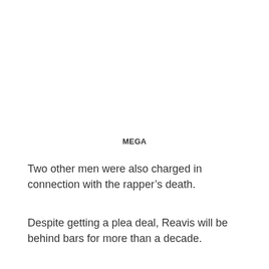MEGA
Two other men were also charged in connection with the rapper’s death.
Despite getting a plea deal, Reavis will be behind bars for more than a decade.